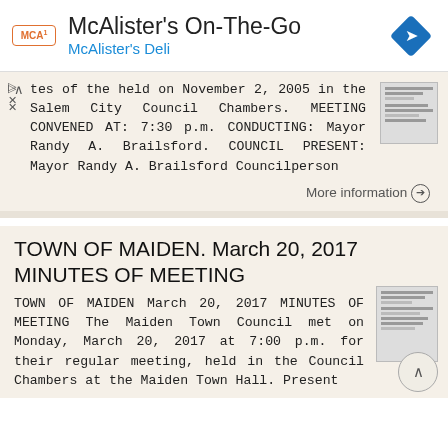[Figure (logo): McAlister's On-The-Go ad banner with McAlister's Deli logo and navigation diamond icon]
tes of the held on November 2, 2005 in the Salem City Council Chambers. MEETING CONVENED AT: 7:30 p.m. CONDUCTING: Mayor Randy A. Brailsford. COUNCIL PRESENT: Mayor Randy A. Brailsford Councilperson
More information
TOWN OF MAIDEN. March 20, 2017 MINUTES OF MEETING
TOWN OF MAIDEN March 20, 2017 MINUTES OF MEETING The Maiden Town Council met on Monday, March 20, 2017 at 7:00 p.m. for their regular meeting, held in the Council Chambers at the Maiden Town Hall. Present